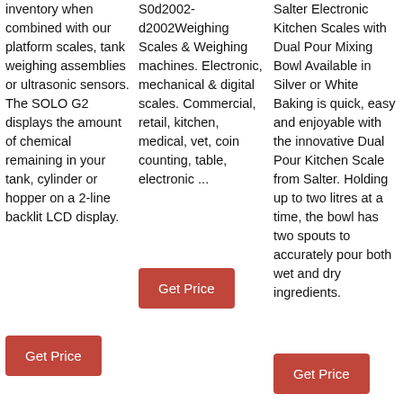inventory when combined with our platform scales, tank weighing assemblies or ultrasonic sensors. The SOLO G2 displays the amount of chemical remaining in your tank, cylinder or hopper on a 2-line backlit LCD display.
Get Price
S0d2002-d2002Weighing Scales & Weighing machines. Electronic, mechanical & digital scales. Commercial, retail, kitchen, medical, vet, coin counting, table, electronic ...
Get Price
Salter Electronic Kitchen Scales with Dual Pour Mixing Bowl Available in Silver or White Baking is quick, easy and enjoyable with the innovative Dual Pour Kitchen Scale from Salter. Holding up to two litres at a time, the bowl has two spouts to accurately pour both wet and dry ingredients.
Get Price